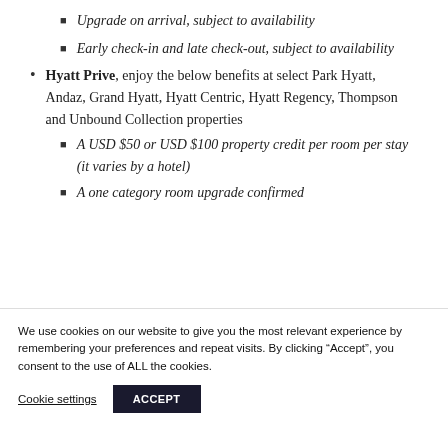Upgrade on arrival, subject to availability
Early check-in and late check-out, subject to availability
Hyatt Prive, enjoy the below benefits at select Park Hyatt, Andaz, Grand Hyatt, Hyatt Centric, Hyatt Regency, Thompson and Unbound Collection properties
A USD $50 or USD $100 property credit per room per stay (it varies by a hotel)
A one category room upgrade confirmed
We use cookies on our website to give you the most relevant experience by remembering your preferences and repeat visits. By clicking “Accept”, you consent to the use of ALL the cookies.